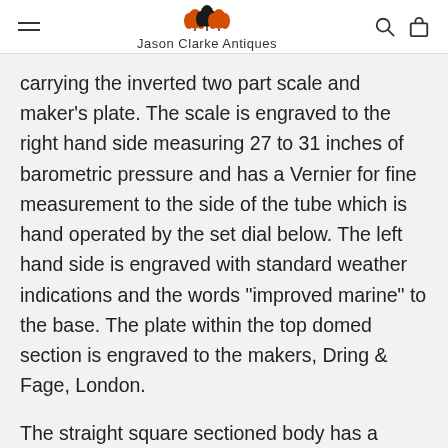Jason Clarke Antiques
carrying the inverted two part scale and maker's plate. The scale is engraved to the right hand side measuring 27 to 31 inches of barometric pressure and has a Vernier for fine measurement to the side of the tube which is hand operated by the set dial below. The left hand side is engraved with standard weather indications and the words "improved marine" to the base. The plate within the top domed section is engraved to the makers, Dring & Fage, London.
The straight square sectioned body has a cased and glazed thermometer with engraved scale for both Fahrenheit and Reamur. Between the thermometer and the set dial are holes front and back which receive the screws which secure a beautifully ornate brass